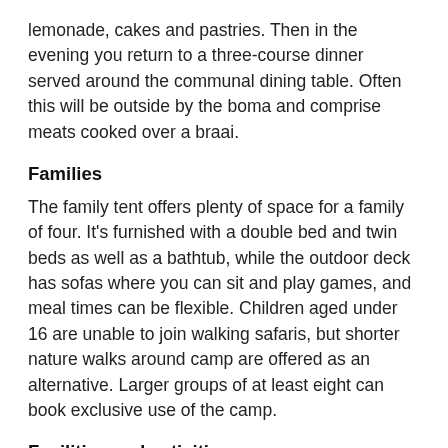lemonade, cakes and pastries. Then in the evening you return to a three-course dinner served around the communal dining table. Often this will be outside by the boma and comprise meats cooked over a braai.
Families
The family tent offers plenty of space for a family of four. It's furnished with a double bed and twin beds as well as a bathtub, while the outdoor deck has sofas where you can sit and play games, and meal times can be flexible. Children aged under 16 are unable to join walking safaris, but shorter nature walks around camp are offered as an alternative. Larger groups of at least eight can book exclusive use of the camp.
Facilities and activities
The main communal area includes a small pool and lots of seating areas both inside and outside where you can